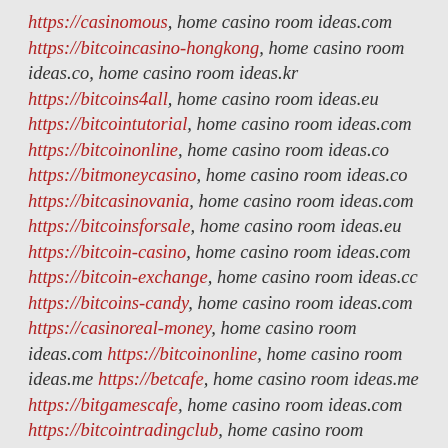https://casinomous, home casino room ideas.com https://bitcoincasino-hongkong, home casino room ideas.co, home casino room ideas.kr https://bitcoins4all, home casino room ideas.eu https://bitcointutorial, home casino room ideas.com https://bitcoinonline, home casino room ideas.co https://bitmoneycasino, home casino room ideas.co https://bitcasinovania, home casino room ideas.com https://bitcoinsforsale, home casino room ideas.eu https://bitcoin-casino, home casino room ideas.com https://bitcoin-exchange, home casino room ideas.cc https://bitcoins-candy, home casino room ideas.com https://casinoreal-money, home casino room ideas.com https://bitcoinonline, home casino room ideas.me https://betcafe, home casino room ideas.me https://bitgamescafe, home casino room ideas.com https://bitcointradingclub, home casino room ideas.nl https://bitshop, home casino room ideas.eu